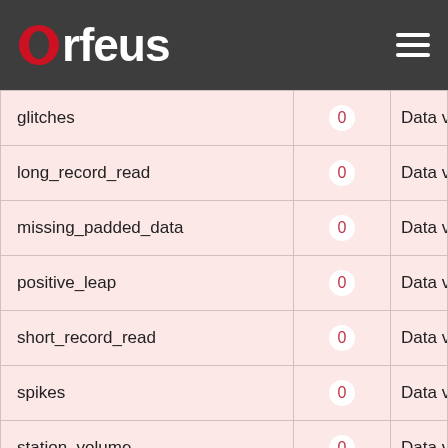Orfeus
| Parameter | Value | Description |
| --- | --- | --- |
| glitches | 0 | Data v |
| long_record_read | 0 | Data v |
| missing_padded_data | 0 | Data v |
| positive_leap | 0 | Data v |
| short_record_read | 0 | Data v |
| spikes | 0 | Data v |
| station_volume | 0 | Data v |
| suspect_time_tag | 0 | Data v |
| telemetry_sync_error | 0 | Data v |
| time_correction_applied | 0 | Data v |
| Timing Quality Options |  |  |
| timing_correction | 0 | Data v |
| timing_quality_max | 0 | Maxim |